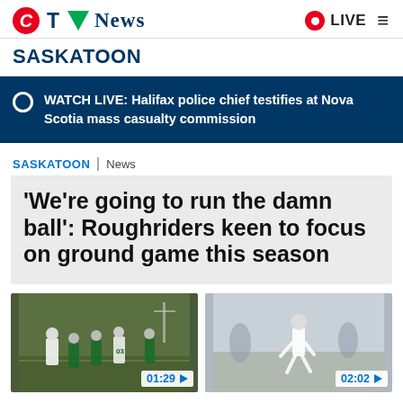CTV News
SASKATOON
WATCH LIVE: Halifax police chief testifies at Nova Scotia mass casualty commission
SASKATOON | News
'We're going to run the damn ball': Roughriders keen to focus on ground game this season
[Figure (screenshot): Football practice video thumbnail with duration 01:29]
[Figure (screenshot): Football player running video thumbnail with duration 02:02]